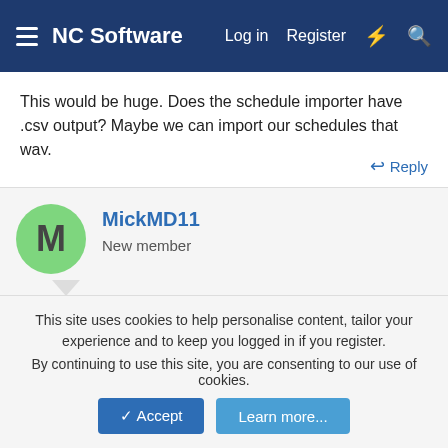NC Software   Log in   Register
This would be huge. Does the schedule importer have .csv output? Maybe we can import our schedules that way.
↩ Reply
MickMD11
New member
Oct 10, 2016   #4
Neal Culiner said: ⬆
Hello Wilhelm,
This site uses cookies to help personalise content, tailor your experience and to keep you logged in if you register.
By continuing to use this site, you are consenting to our use of cookies.
✓ Accept   Learn more...